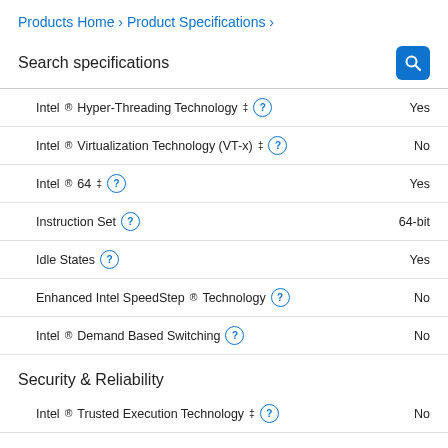Products Home › Product Specifications ›
Search specifications
| Specification | Value |
| --- | --- |
| Intel® Hyper-Threading Technology ‡ | Yes |
| Intel® Virtualization Technology (VT-x) ‡ | No |
| Intel® 64 ‡ | Yes |
| Instruction Set | 64-bit |
| Idle States | Yes |
| Enhanced Intel SpeedStep® Technology | No |
| Intel® Demand Based Switching | No |
Security & Reliability
| Specification | Value |
| --- | --- |
| Intel® Trusted Execution Technology ‡ | No |